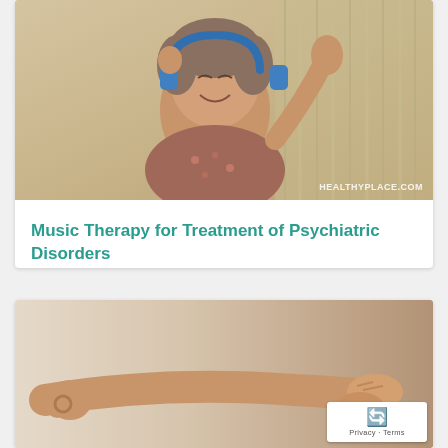[Figure (photo): Elderly woman smiling and wearing blue headphones, raising her hands, seated on a striped couch. Watermark reads HEALTHYPLACE.COM in bottom right.]
Music Therapy for Treatment of Psychiatric Disorders
[Figure (photo): Close-up of a person's arm extended in a yoga or meditative pose, blurred background, another person's hands visible at right holding the arm.]